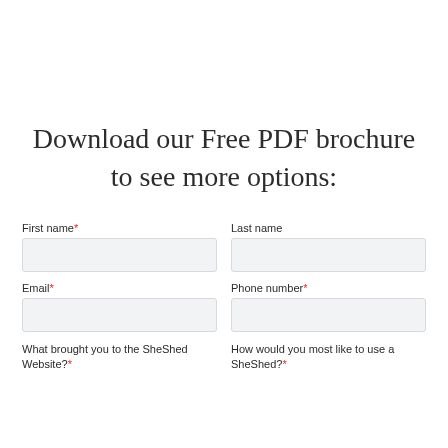Download our Free PDF brochure to see more options:
First name* [field]  Last name [field]
Email* [field]  Phone number* [field]
What brought you to the SheShed Website?*  How would you most like to use a SheShed?*